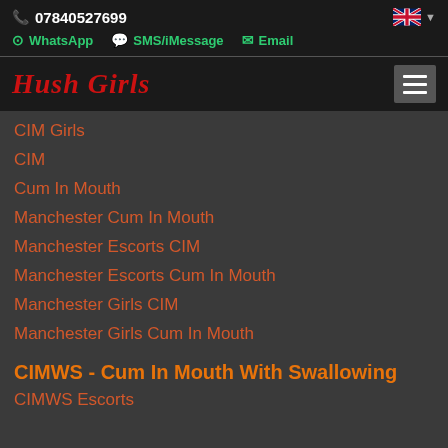07840527699
WhatsApp  SMS/iMessage  Email
Hush Girls
CIM Girls
CIM
Cum In Mouth
Manchester Cum In Mouth
Manchester Escorts CIM
Manchester Escorts Cum In Mouth
Manchester Girls CIM
Manchester Girls Cum In Mouth
CIMWS - Cum In Mouth With Swallowing
CIMWS Escorts